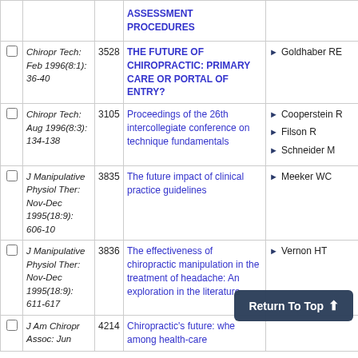|  | Journal | ID | Title | Authors |
| --- | --- | --- | --- | --- |
|  |  |  | ASSESSMENT PROCEDURES |  |
|  | Chiropr Tech: Feb 1996(8:1): 36-40 | 3528 | THE FUTURE OF CHIROPRACTIC: PRIMARY CARE OR PORTAL OF ENTRY? | Goldhaber RE |
|  | Chiropr Tech: Aug 1996(8:3): 134-138 | 3105 | Proceedings of the 26th intercollegiate conference on technique fundamentals | Cooperstein R; Filson R; Schneider M |
|  | J Manipulative Physiol Ther: Nov-Dec 1995(18:9): 606-10 | 3835 | The future impact of clinical practice guidelines | Meeker WC |
|  | J Manipulative Physiol Ther: Nov-Dec 1995(18:9): 611-617 | 3836 | The effectiveness of chiropractic manipulation in the treatment of headache: An exploration in the literature | Vernon HT |
|  | J Am Chiropr Assoc: Jun | 4214 | Chiropractic's future: whe among health-care |  |